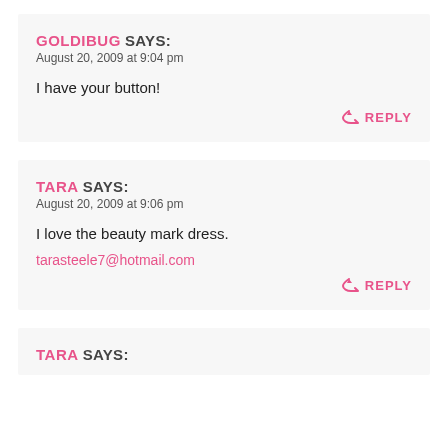GOLDIBUG SAYS:
August 20, 2009 at 9:04 pm

I have your button!
REPLY
TARA SAYS:
August 20, 2009 at 9:06 pm

I love the beauty mark dress.
tarasteele7@hotmail.com
REPLY
TARA SAYS: